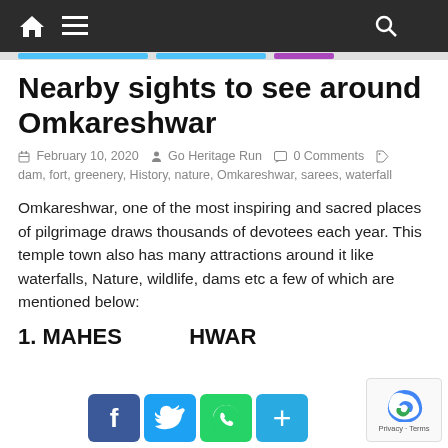Navigation bar with home icon, menu icon, and search icon
Nearby sights to see around Omkareshwar
February 10, 2020   Go Heritage Run   0 Comments
dam, fort, greenery, History, nature, Omkareshwar, sarees, waterfall
Omkareshwar, one of the most inspiring and sacred places of pilgrimage draws thousands of devotees each year. This temple town also has many attractions around it like waterfalls, Nature, wildlife, dams etc a few of which are mentioned below:
1. MAHESHWAR